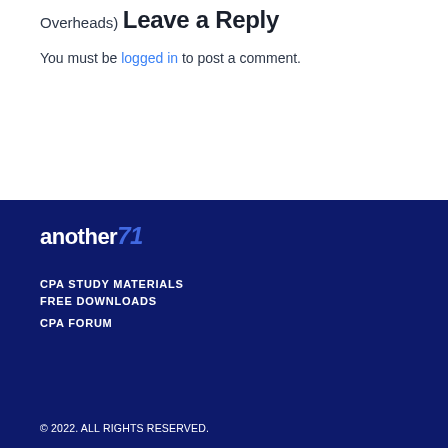Overheads)
Leave a Reply
You must be logged in to post a comment.
[Figure (logo): another71 logo in white and blue on dark navy background]
CPA STUDY MATERIALS
FREE DOWNLOADS
CPA FORUM
© 2022. ALL RIGHTS RESERVED.